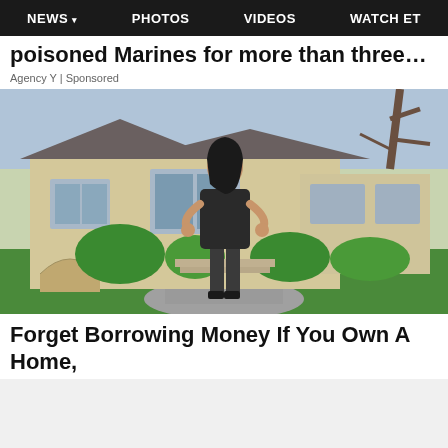NEWS  PHOTOS  VIDEOS  WATCH ET
poisoned Marines for more than three…
Agency Y | Sponsored
[Figure (photo): Woman in black sleeveless dress standing in front of a large luxury home with lush green landscaping and a stone driveway]
Forget Borrowing Money If You Own A Home,